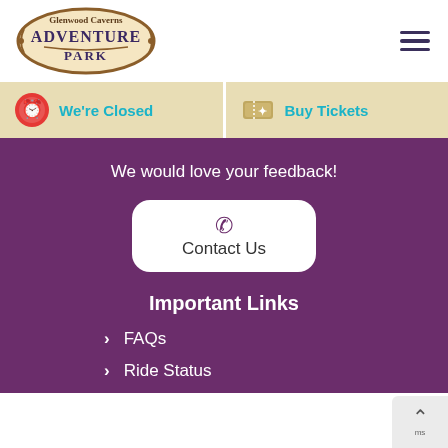[Figure (logo): Glenwood Caverns Adventure Park logo — ornate badge shape with 'Glenwood Caverns' on top and 'ADVENTURE PARK' in large letters, brown/tan colors with teal trim]
[Figure (other): Hamburger menu icon — three horizontal dark purple lines]
We're Closed
Buy Tickets
We would love your feedback!
Contact Us
Important Links
FAQs
Ride Status